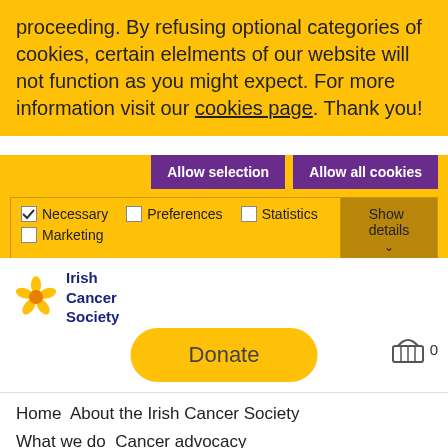proceeding. By refusing optional categories of cookies, certain elelments of our website will not function as you might expect. For more information visit our cookies page. Thank you!
[Figure (screenshot): Cookie consent banner with Allow selection and Allow all cookies buttons, and checkboxes for Necessary, Preferences, Statistics, Marketing, with Show details dropdown]
[Figure (logo): Irish Cancer Society logo with stylized flower icon and blue text]
[Figure (other): Yellow Donate button and basket/cart icon with 0 count]
Home   About the Irish Cancer Society
What we do   Cancer advocacy
Inpatient charges